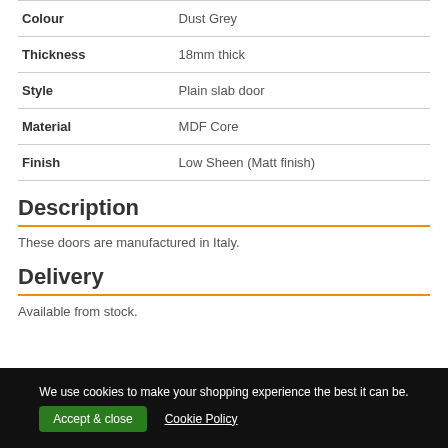| Property | Value |
| --- | --- |
| Colour | Dust Grey |
| Thickness | 18mm thick |
| Style | Plain slab door |
| Material | MDF Core |
| Finish | Low Sheen (Matt finish) |
Description
These doors are manufactured in Italy.
Delivery
Available from stock.
We use cookies to make your shopping experience the best it can be. Accept & close  Cookie Policy